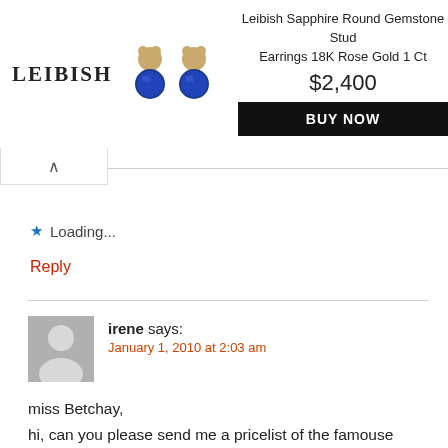[Figure (other): Leibish advertisement banner showing sapphire earrings with rose gold setting, brand name LEIBISH, product title, price $2,400, and BUY NOW button]
Loading...
Reply
[Figure (other): User avatar placeholder (gray silhouette)]
irene says:
January 1, 2010 at 2:03 am
miss Betchay,

hi, can you please send me a pricelist of the famouse skinfood products, just like many of your readers, I'm interested to try them moreso, the BB cream.